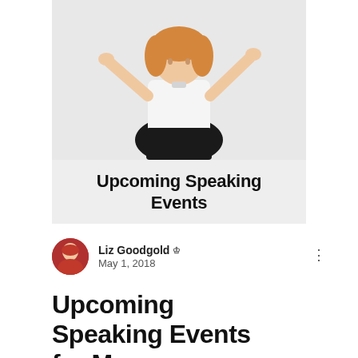[Figure (photo): A smiling woman with blonde hair wearing a white top and black skirt, arms raised in a welcoming gesture, against a light grey/white background. Below the photo is a light grey banner with bold text reading 'Upcoming Speaking Events'.]
Liz Goodgold 👑 Admin
May 1, 2018
Upcoming Speaking Events for May